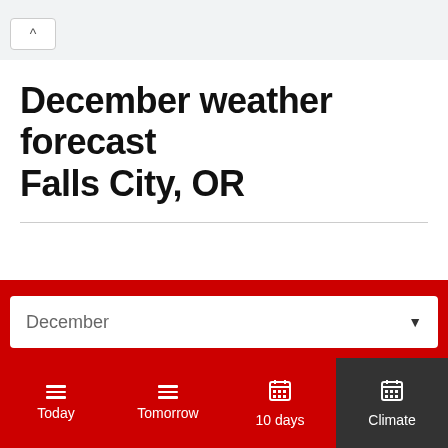^
December weather forecast Falls City, OR
[Figure (screenshot): December month dropdown selector with dark arrow on white background inside red bar]
Today | Tomorrow | 10 days | Climate